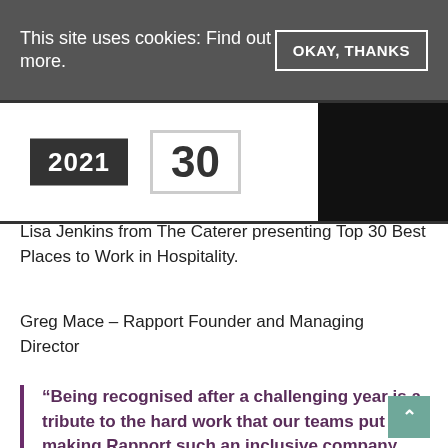This site uses cookies: Find out more.
OKAY, THANKS
[Figure (photo): Award image showing '2021' badge and '30' badge, with a dark black panel on the right]
Lisa Jenkins from The Caterer presenting Top 30 Best Places to Work in Hospitality.
Greg Mace – Rapport Founder and Managing Director
“Being recognised after a challenging year is a tribute to the hard work that our teams put into making Rapport such an inclusive company where employee